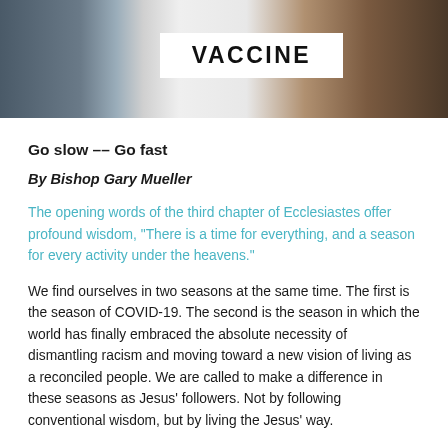[Figure (photo): A photograph showing people, one holding a sign that reads 'VACCINE'. The image is cropped to show partial figures with the sign prominently displayed in the center.]
Go slow -- Go fast
By Bishop Gary Mueller
The opening words of the third chapter of Ecclesiastes offer profound wisdom, “There is a time for everything, and a season for every activity under the heavens.”
We find ourselves in two seasons at the same time. The first is the season of COVID-19. The second is the season in which the world has finally embraced the absolute necessity of dismantling racism and moving toward a new vision of living as a reconciled people. We are called to make a difference in these seasons as Jesus’ followers. Not by following conventional wisdom, but by living the Jesus’ way.